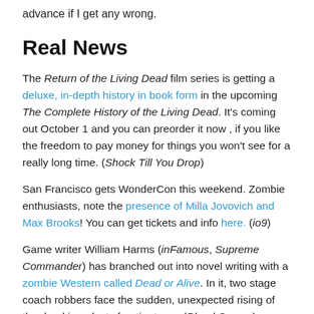advance if I get any wrong.
Real News
The Return of the Living Dead film series is getting a deluxe, in-depth history in book form in the upcoming The Complete History of the Living Dead. It's coming out October 1 and you can preorder it now , if you like the freedom to pay money for things you won't see for a really long time. (Shock Till You Drop)
San Francisco gets WonderCon this weekend. Zombie enthusiasts, note the presence of Milla Jovovich and Max Brooks! You can get tickets and info here. (io9)
Game writer William Harms (inFamous, Supreme Commander) has branched out into novel writing with a zombie Western called Dead or Alive. In it, two stage coach robbers face the sudden, unexpected rising of the dead in a dusty frontier town. (Blend Games)
An ambitious and skillful crafter has made Plants vs. Zombies "plushies." (MTV Multiplayer)
For the fake April 1 news, click the “Read the rest of this entry link.”